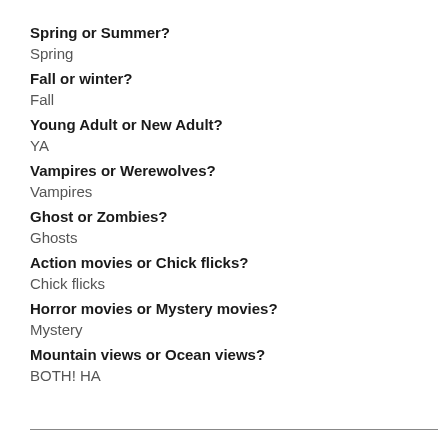Spring or Summer?
Spring
Fall or winter?
Fall
Young Adult or New Adult?
YA
Vampires or Werewolves?
Vampires
Ghost or Zombies?
Ghosts
Action movies or Chick flicks?
Chick flicks
Horror movies or Mystery movies?
Mystery
Mountain views or Ocean views?
BOTH! HA